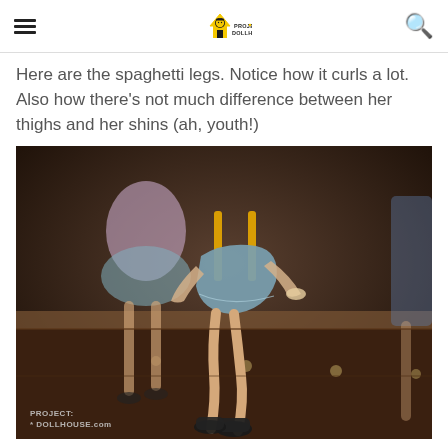Project Dollhouse
Here are the spaghetti legs. Notice how it curls a lot. Also how there's not much difference between her thighs and her shins (ah, youth!)
[Figure (photo): Photo of two dolls sitting on a dark wooden dresser with their legs dangling. One doll wears a blue skirt with yellow top, the other wears a plaid outfit. Both have thin 'spaghetti' legs and black shoes. Watermark reads PROJECT DOLLHOUSE.com at bottom left.]